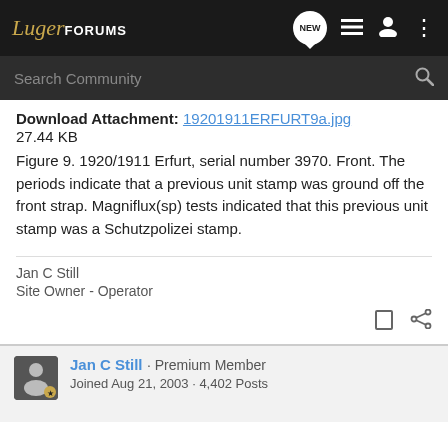LugerFORUMS
Download Attachment: 19201911ERFURT9a.jpg
27.44 KB
Figure 9. 1920/1911 Erfurt, serial number 3970. Front. The periods indicate that a previous unit stamp was ground off the front strap. Magniflux(sp) tests indicated that this previous unit stamp was a Schutzpolizei stamp.
Jan C Still
Site Owner - Operator
Jan C Still · Premium Member
Joined Aug 21, 2003 · 4,402 Posts